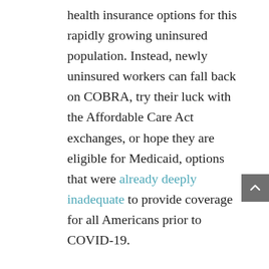health insurance options for this rapidly growing uninsured population. Instead, newly uninsured workers can fall back on COBRA, try their luck with the Affordable Care Act exchanges, or hope they are eligible for Medicaid, options that were already deeply inadequate to provide coverage for all Americans prior to COVID-19.
Some have predicted that COVID-19 will cause Americans to reevaluate the U.S. health care system. It may also be time to reevaluate our approach to unemployment as a societal problem. If so, the pilot wage payment programs of several northern European